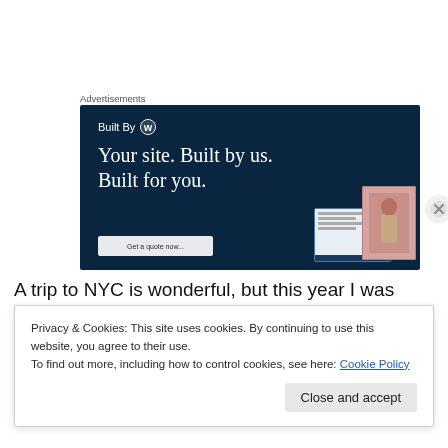Advertisements
[Figure (illustration): WordPress 'Built By' advertisement banner on dark navy background showing text 'Built By [WordPress logo] Your site. Built by us. Built for you.' with a laptop and fashion photo preview in bottom right, and a 'Get a quote now' button at bottom left]
A trip to NYC is wonderful, but this year I was reminded
Privacy & Cookies: This site uses cookies. By continuing to use this website, you agree to their use.
To find out more, including how to control cookies, see here: Cookie Policy
Close and accept